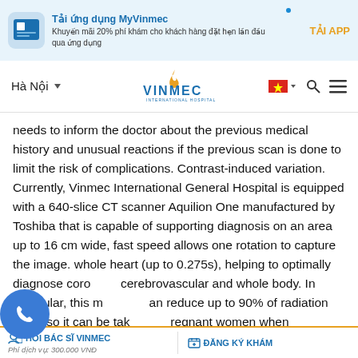[Figure (other): App promotion banner for MyVinmec with blue icon, text and TẢI APP button]
[Figure (other): Navigation bar with Hà Nội location selector, VinMec International Hospital logo, Vietnamese flag, search and menu icons]
needs to inform the doctor about the previous medical history and unusual reactions if the previous scan is done to limit the risk of complications. Contrast-induced variation. Currently, Vinmec International General Hospital is equipped with a 640-slice CT scanner Aquilion One manufactured by Toshiba that is capable of supporting diagnosis on an area up to 16 cm wide, fast speed allows one rotation to capture the image. whole heart (up to 0.275s), helping to optimally diagnose coronary, cerebrovascular and whole body. In particular, this machine can reduce up to 90% of radiation dose, so it can be taken by pregnant women when indicated. Doctor Vu Huy Hoang has 10 years of experience working in the
HỎI BÁC SĨ VINMEC   Phí dịch vụ: 300.000 VNĐ   ĐĂNG KÝ KHÁM